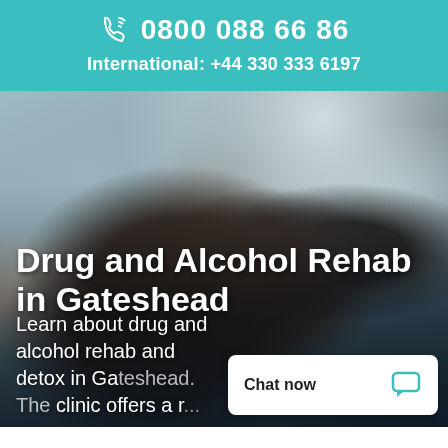0800 088 66 86
International: +44 330 333 6197
[Figure (photo): Hero background photo showing two women, one with grey hair and one with dark hair, in a softly lit indoor setting. Used as a background for the page heading.]
Drug and Alcohol Rehab in Gateshead
Learn about drug and alcohol rehab and detox in Gateshead. The clinic offers a r...